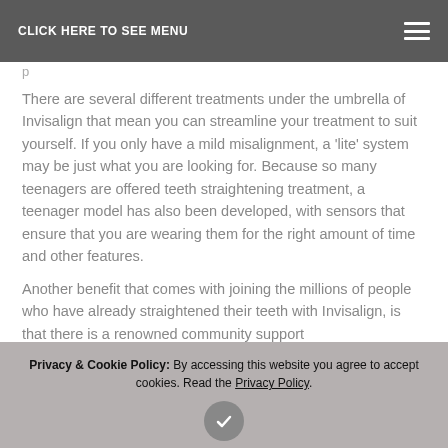CLICK HERE TO SEE MENU
p
There are several different treatments under the umbrella of Invisalign that mean you can streamline your treatment to suit yourself. If you only have a mild misalignment, a 'lite' system may be just what you are looking for. Because so many teenagers are offered teeth straightening treatment, a teenager model has also been developed, with sensors that ensure that you are wearing them for the right amount of time and other features.
Another benefit that comes with joining the millions of people who have already straightened their teeth with Invisalign, is that there is a renowned community support
Privacy & Cookie Policy: By accessing this website you agree to accept cookies. Read the Privacy Policy.